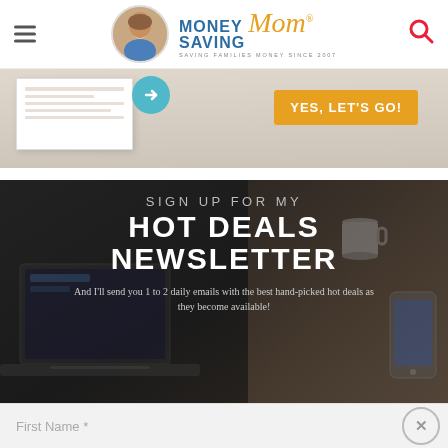Money Saving Mom — SAVING FAMILIES MONEY SINCE 2007
[Figure (screenshot): Promotional banner with paper document, arrow graphic, and orange YES, LET'S GO! button on light wood background]
SIGN UP FOR MY HOT DEALS NEWSLETTER
And I'll send you 1 to 2 daily emails with the best hand-picked hot deals as they become available!
First Name *